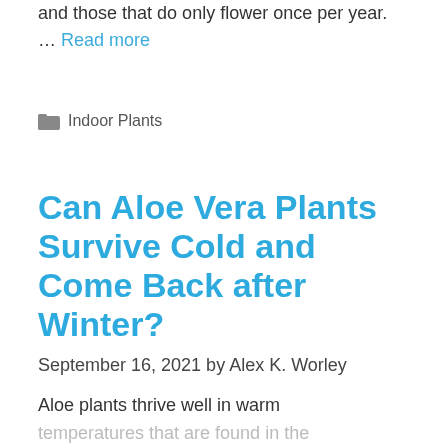and those that do only flower once per year. … Read more
Indoor Plants
Can Aloe Vera Plants Survive Cold and Come Back after Winter?
September 16, 2021 by Alex K. Worley
Aloe plants thrive well in warm temperatures that are found in the natural habitat of the plant. In very cold